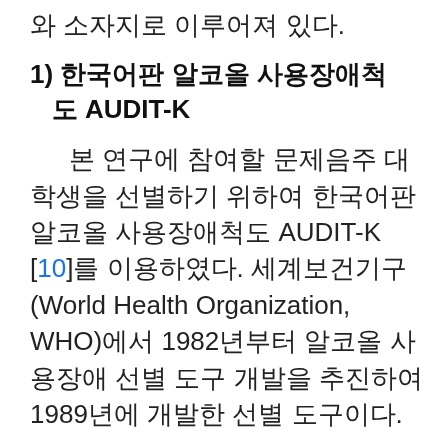와 소자지로 이루어져 있다.
1) 한국어판 알코올 사용장애척도 AUDIT-K
본 연구에 참여할 문제음주 대학생을 선별하기 위하여 한국어판 알코올 사용장애척도 AUDIT-K [10]를 이용하였다. 세계보건기구(World Health Organization, WHO)에서 1982년부터 알코올 사용장애 선별 도구 개발을 추진하여 1989년에 개발한 선별 도구이다.